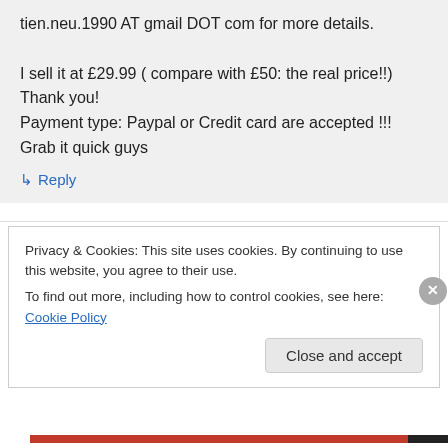tien.neu.1990 AT gmail DOT com for more details.

I sell it at £29.99 ( compare with £50: the real price!!)
Thank you!
Payment type: Paypal or Credit card are accepted !!! Grab it quick guys
↳ Reply
Privacy & Cookies: This site uses cookies. By continuing to use this website, you agree to their use.
To find out more, including how to control cookies, see here: Cookie Policy
Close and accept